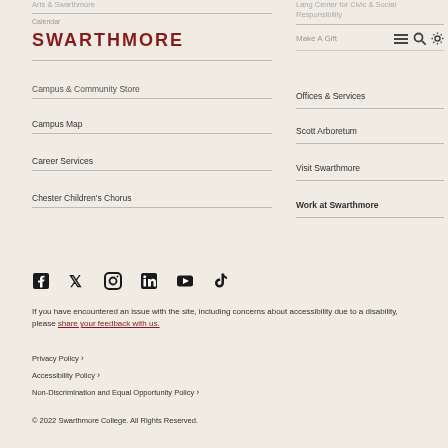Arts & Swarthmore
[Figure (screenshot): Swarthmore College logo and navigation header with menu, search, and settings icons]
Calendar
Campus & Community Store
Campus Map
Career Services
Chester Children's Chorus
Lang Center for Civic & Social Responsibility
Make A Gift
Offices & Services
Scott Arboretum
Visit Swarthmore
Work at Swarthmore
[Figure (illustration): Social media icons: Facebook, Twitter, Instagram, LinkedIn, YouTube, TikTok]
If you have encountered an issue with the site, including concerns about accessibility due to a disability, please share your feedback with us.
Privacy Policy ›
Accessibility Policy ›
Non-Discrimination and Equal Opportunity Policy ›
© 2022 Swarthmore College. All Rights Reserved.